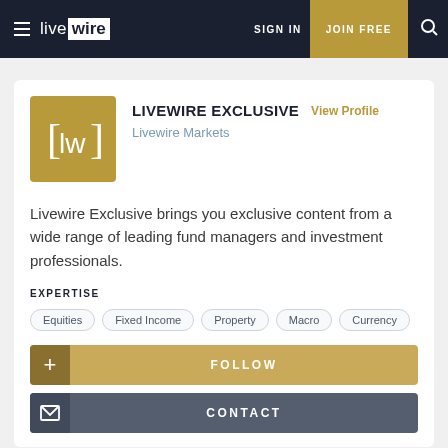live wire | SIGN IN | JOIN FREE
[Figure (logo): Livewire Markets logo with lw initials in gold square]
LIVEWIRE EXCLUSIVE
View Profile
Livewire Markets
Livewire Exclusive brings you exclusive content from a wide range of leading fund managers and investment professionals.
EXPERTISE
Equities
Fixed Income
Property
Macro
Currency
FOLLOW
CONTACT